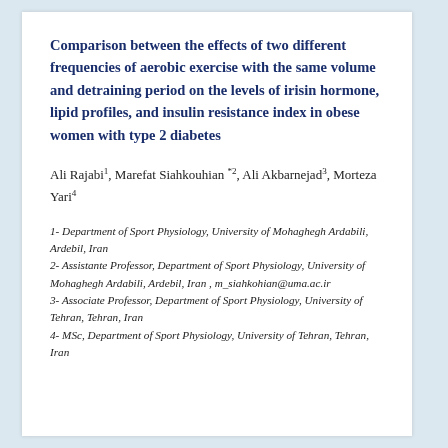Comparison between the effects of two different frequencies of aerobic exercise with the same volume and detraining period on the levels of irisin hormone, lipid profiles, and insulin resistance index in obese women with type 2 diabetes
Ali Rajabi1, Marefat Siahkouhian *2, Ali Akbarnejad3, Morteza Yari4
1- Department of Sport Physiology, University of Mohaghegh Ardabili, Ardebil, Iran
2- Assistante Professor, Department of Sport Physiology, University of Mohaghegh Ardabili, Ardebil, Iran , m_siahkohian@uma.ac.ir
3- Associate Professor, Department of Sport Physiology, University of Tehran, Tehran, Iran
4- MSc, Department of Sport Physiology, University of Tehran, Tehran, Iran